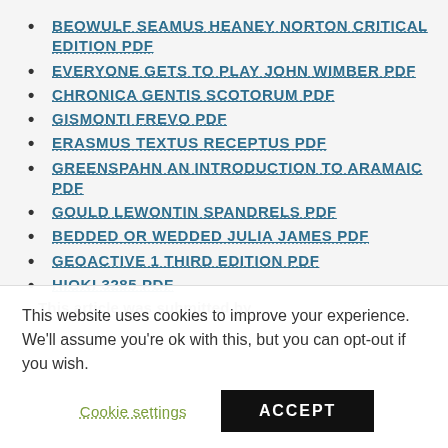BEOWULF SEAMUS HEANEY NORTON CRITICAL EDITION PDF
EVERYONE GETS TO PLAY JOHN WIMBER PDF
CHRONICA GENTIS SCOTORUM PDF
GISMONTI FREVO PDF
ERASMUS TEXTUS RECEPTUS PDF
GREENSPAHN AN INTRODUCTION TO ARAMAIC PDF
GOULD LEWONTIN SPANDRELS PDF
BEDDED OR WEDDED JULIA JAMES PDF
GEOACTIVE 1 THIRD EDITION PDF
HIOKI 3285 PDF
This article was submitted by...
This website uses cookies to improve your experience. We'll assume you're ok with this, but you can opt-out if you wish.
Cookie settings  ACCEPT